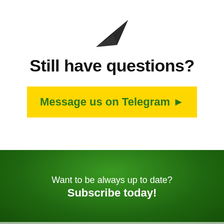[Figure (illustration): Black paper airplane / send icon pointing upper-right]
Still have questions?
Message us on Telegram ➤
Want to be always up to date?
Subscribe today!